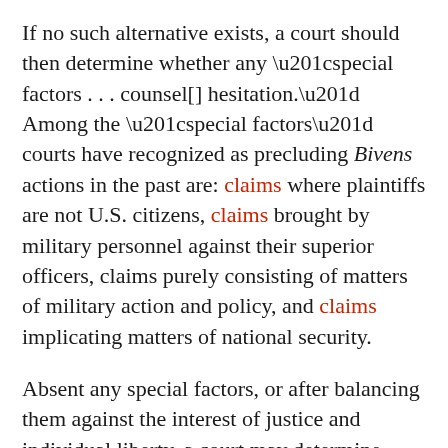If no such alternative exists, a court should then determine whether any “special factors . . . counsel[] hesitation.” Among the “special factors” courts have recognized as precluding Bivens actions in the past are: claims where plaintiffs are not U.S. citizens, claims brought by military personnel against their superior officers, claims purely consisting of matters of military action and policy, and claims implicating matters of national security.
Absent any special factors, or after balancing them against the interest of justice and individual liberty, a court may determine whether to recognize a particular Bivens claim.